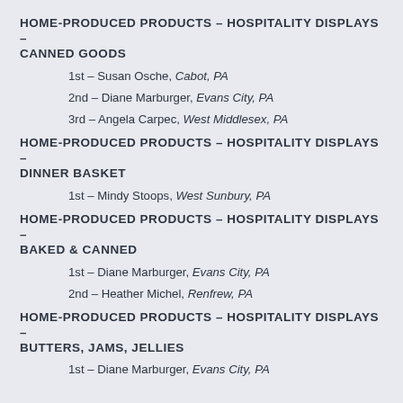HOME-PRODUCED PRODUCTS – HOSPITALITY DISPLAYS – CANNED GOODS
1st – Susan Osche, Cabot, PA
2nd – Diane Marburger, Evans City, PA
3rd – Angela Carpec, West Middlesex, PA
HOME-PRODUCED PRODUCTS – HOSPITALITY DISPLAYS – DINNER BASKET
1st – Mindy Stoops, West Sunbury, PA
HOME-PRODUCED PRODUCTS – HOSPITALITY DISPLAYS – BAKED & CANNED
1st – Diane Marburger, Evans City, PA
2nd – Heather Michel, Renfrew, PA
HOME-PRODUCED PRODUCTS – HOSPITALITY DISPLAYS – BUTTERS, JAMS, JELLIES
1st – Diane Marburger, Evans City, PA